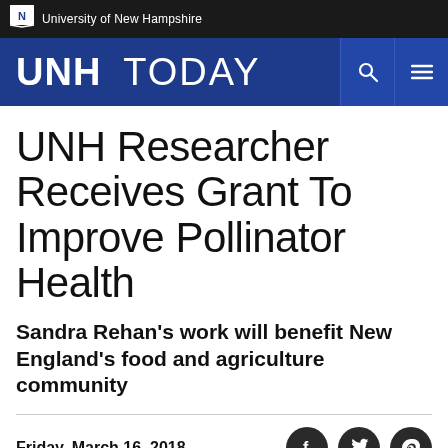University of New Hampshire
UNH TODAY
UNH Researcher Receives Grant To Improve Pollinator Health
Sandra Rehan's work will benefit New England's food and agriculture community
Friday, March 16, 2018